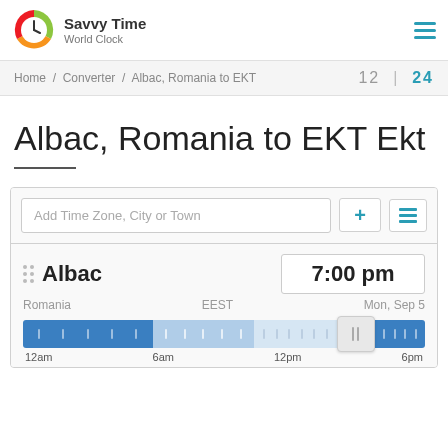Savvy Time World Clock
Home / Converter / Albac, Romania to EKT   12 | 24
Albac, Romania to EKT Ekt
Add Time Zone, City or Town
Albac  7:00 pm  Romania  EEST  Mon, Sep 5  12am  6am  12pm  6pm